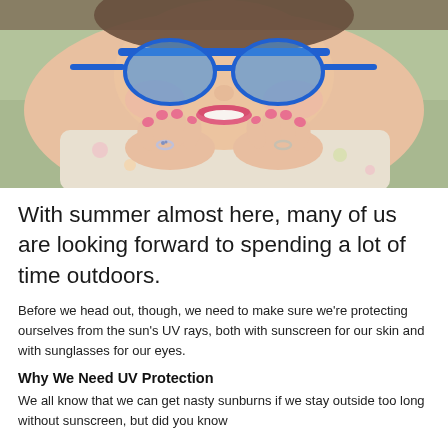[Figure (photo): A smiling woman wearing blue sunglasses, resting her chin on her hands, with pink nail polish and rings visible. She is wearing a light-colored outfit and appears to be outdoors.]
With summer almost here, many of us are looking forward to spending a lot of time outdoors.
Before we head out, though, we need to make sure we're protecting ourselves from the sun's UV rays, both with sunscreen for our skin and with sunglasses for our eyes.
Why We Need UV Protection
We all know that we can get nasty sunburns if we stay outside too long without sunscreen, but did you know